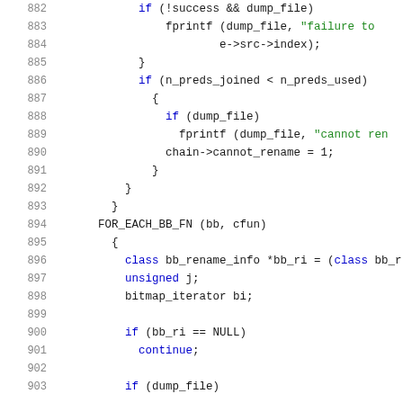[Figure (screenshot): Source code listing lines 882-903 showing C/C++ code with syntax highlighting. Line numbers in gray on the left, keywords in blue, string literals in green, regular code in dark.]